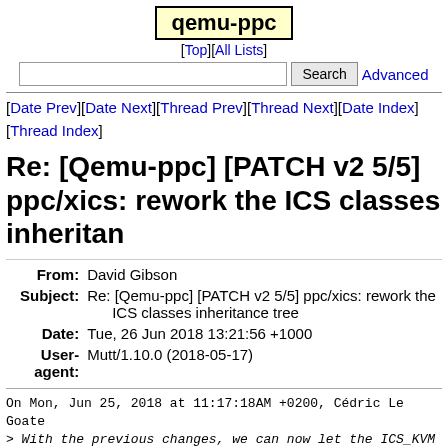qemu-ppc
[Top][All Lists]
Search  Advanced
[Date Prev][Date Next][Thread Prev][Thread Next][Date Index][Thread Index]
Re: [Qemu-ppc] [PATCH v2 5/5] ppc/xics: rework the ICS classes inheritan
| Field | Value |
| --- | --- |
| From | David Gibson |
| Subject | Re: [Qemu-ppc] [PATCH v2 5/5] ppc/xics: rework the ICS classes inheritance tree |
| Date | Tue, 26 Jun 2018 13:21:56 +1000 |
| User-agent | Mutt/1.10.0 (2018-05-17) |
On Mon, Jun 25, 2018 at 11:17:18AM +0200, Cédric Le Goate
> With the previous changes, we can now let the ICS_KVM c
> directly from ICS_BASE class and not from the intermedi
> It makes the class hierarchy much cleaner.